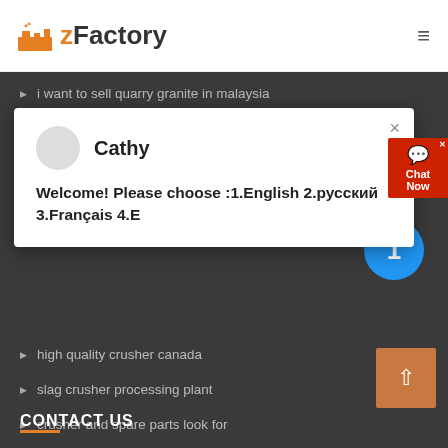zFactory
i want to sell quarry granite in malaysia
desander hydrocyclone separator
RELATED PRODUCTS
[Figure (screenshot): Chat popup with avatar, name 'Cathy', and message 'Welcome! Please choose :1.English 2.русский 3.Français 4.E']
high quality crusher canada
slag crusher processing plant
crusher and spare parts look for
barite crusher plant south africa
CONTACT US